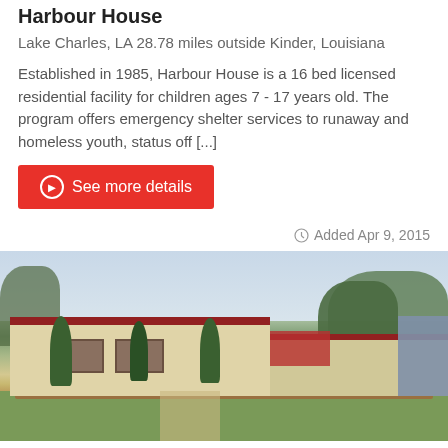Harbour House
Lake Charles, LA 28.78 miles outside Kinder, Louisiana
Established in 1985, Harbour House is a 16 bed licensed residential facility for children ages 7 - 17 years old. The program offers emergency shelter services to runaway and homeless youth, status off [...]
See more details
Added Apr 9, 2015
[Figure (photo): Exterior photo of a low-rise building with red tile roof, trees and landscaped garden beds in front, green lawn]
The Center of Hope: Men's Shelter and Work